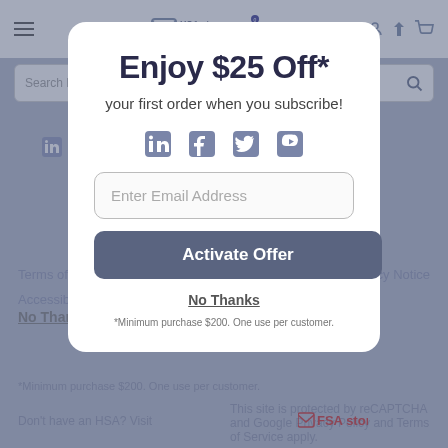HSA store — navigation bar with hamburger menu, logo, user icon, cart (0)
Search Eligible Products
Enjoy $25 Off*
your first order when you subscribe!
[Figure (other): Social media icons: LinkedIn, Facebook, Twitter, YouTube]
Enter Email Address
Activate Offer
No Thanks
*Minimum purchase $200. One use per customer.
This site is protected by reCAPTCHA and Google Privacy Policy and Terms of Service apply.
© 2021 HSAstore.com
Terms of Use    Privacy Notice
Accessibility
Don't have an HSA? Visit
[Figure (logo): FSA store logo in red]